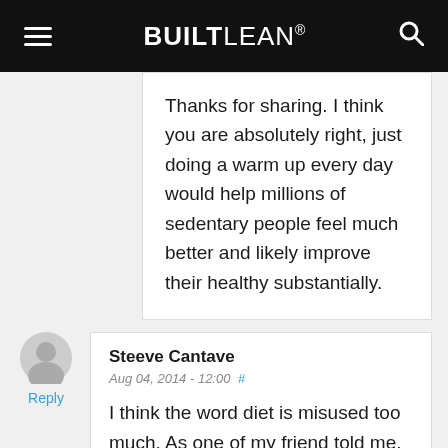BUILTLEAN®
Thanks for sharing. I think you are absolutely right, just doing a warm up every day would help millions of sedentary people feel much better and likely improve their healthy substantially.
Steeve Cantave
Aug 04, 2014 - 12:00 #
I think the word diet is misused too much. As one of my friend told me, people should look at it as a lifestyle change. I can understand a healthy
Reply